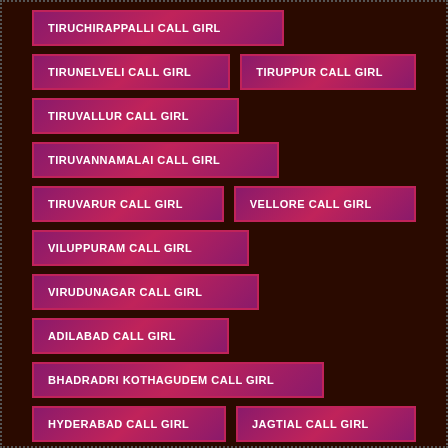TIRUCHIRAPPALLI CALL GIRL
TIRUNELVELI CALL GIRL
TIRUPPUR CALL GIRL
TIRUVALLUR CALL GIRL
TIRUVANNAMALAI CALL GIRL
TIRUVARUR CALL GIRL
VELLORE CALL GIRL
VILUPPURAM CALL GIRL
VIRUDUNAGAR CALL GIRL
ADILABAD CALL GIRL
BHADRADRI KOTHAGUDEM CALL GIRL
HYDERABAD CALL GIRL
JAGTIAL CALL GIRL